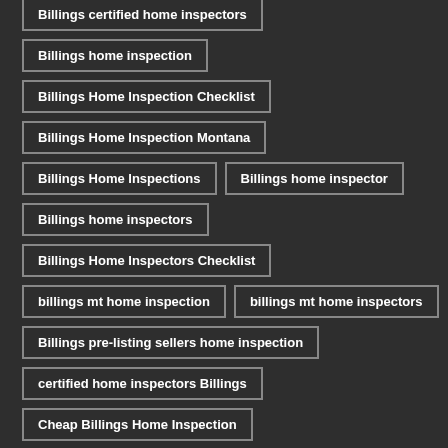Billings certified home inspectors
Billings home inspection
Billings Home Inspection Checklist
Billings Home Inspection Montana
Billings Home Inspections
Billings home inspector
Billings home inspectors
Billings Home Inspectors Checklist
billings mt home inspection
billings mt home inspectors
Billings pre-listing sellers home inspection
certified home inspectors Billings
Cheap Billings Home Inspection
Cheap Home Inspection in Billings